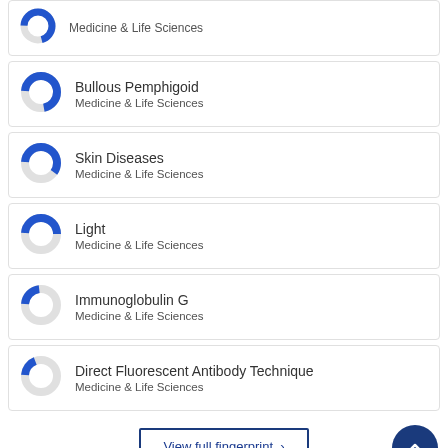Medicine & Life Sciences (partial card at top)
Bullous Pemphigoid — Medicine & Life Sciences
Skin Diseases — Medicine & Life Sciences
Light — Medicine & Life Sciences
Immunoglobulin G — Medicine & Life Sciences
Direct Fluorescent Antibody Technique — Medicine & Life Sciences
View full fingerprint >